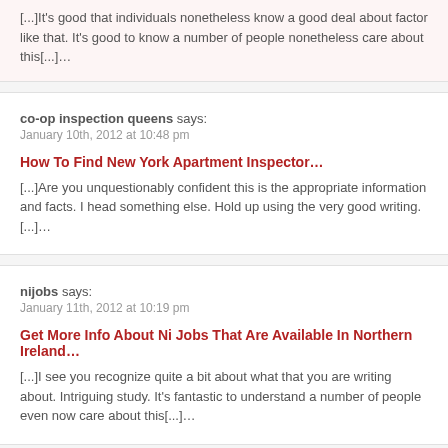[...]It's good that individuals nonetheless know a good deal about factor like that. It's good to know a number of people nonetheless care about this[...]…
co-op inspection queens says:
January 10th, 2012 at 10:48 pm
How To Find New York Apartment Inspector…
[...]Are you unquestionably confident this is the appropriate information and facts. I head something else. Hold up using the very good writing.[...]…
nijobs says:
January 11th, 2012 at 10:19 pm
Get More Info About Ni Jobs That Are Available In Northern Ireland…
[...]I see you recognize quite a bit about what that you are writing about. Intriguing study. It's fantastic to understand a number of people even now care about this[...]…
Money Lenders says: